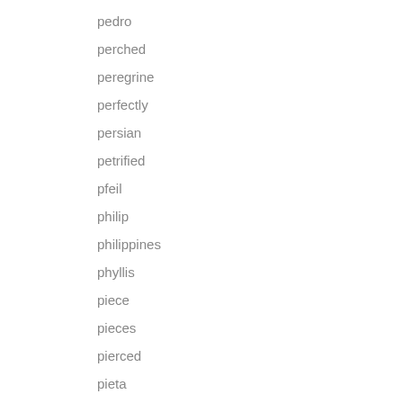pedro
perched
peregrine
perfectly
persian
petrified
pfeil
philip
philippines
phyllis
piece
pieces
pierced
pieta
pillar
pintail